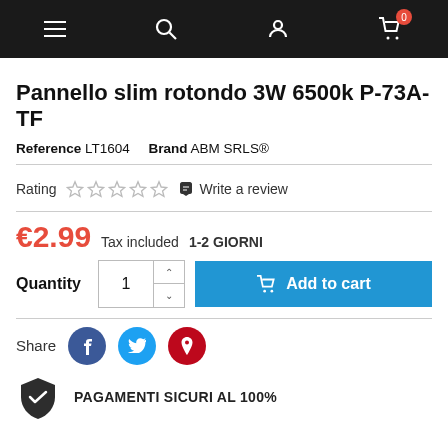Navigation bar with menu, search, account, and cart icons
Pannello slim rotondo 3W 6500k P-73A-TF
Reference LT1604   Brand ABM SRLS®
Rating ☆☆☆☆☆  ✏ Write a review
€2.99  Tax included  1-2 GIORNI
Quantity  1  Add to cart
Share
PAGAMENTI SICURI AL 100%